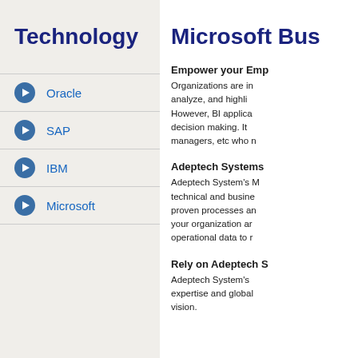Technology
Oracle
SAP
IBM
Microsoft
Microsoft Bu…
Empower your Emp…
Organizations are in… analyze, and highli… However, BI applica… decision making. It … managers, etc who n…
Adeptech Systems…
Adeptech System's M… technical and busine… proven processes an… your organization ar… operational data to r…
Rely on Adeptech S…
Adeptech System's … expertise and global… vision.